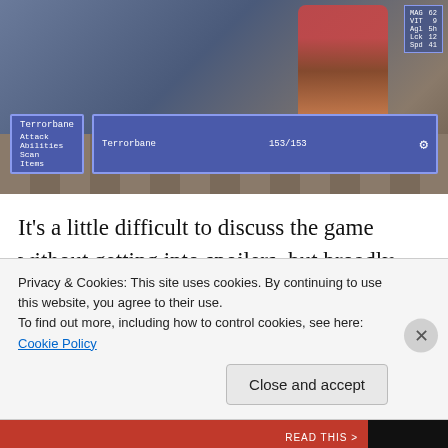[Figure (screenshot): Screenshot of an SNES-style RPG game showing a character sprite with red hair, a battle menu with options (Attack, Abilities, Scan, Items) for 'Terrorbane', a status box showing 'Terrorbane 153/153', and stats panel on the right showing MAG, VIT, Agl, Lck, spd values. The background shows a tiled road environment.]
It's a little difficult to discuss the game without getting into spoilers, but broadly speaking, the game starts by parodying SNES style RPGs as an overzealous developer/narrator assures you that the game you will be playing is ten out of ten pristine with absolutely no bugs or glitches. You can tell the creator had a lot of fun satirizing the quick to release under-tested nature of
Privacy & Cookies: This site uses cookies. By continuing to use this website, you agree to their use.
To find out more, including how to control cookies, see here: Cookie Policy
Close and accept